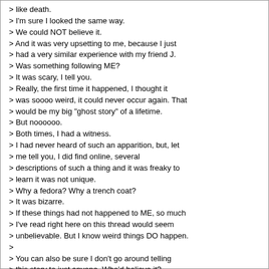> like death.
> I'm sure I looked the same way.
> We could NOT believe it.
> And it was very upsetting to me, because I just
> had a very similar experience with my friend J.
> Was something following ME?
> It was scary, I tell you.
> Really, the first time it happened, I thought it
> was soooo weird, it could never occur again. That
> would be my big "ghost story" of a lifetime.
> But noooooo.
> Both times, I had a witness.
> I had never heard of such an apparition, but, let
> me tell you, I did find online, several
> descriptions of such a thing and it was freaky to
> learn it was not unique.
> Why a fedora? Why a trench coat?
> It was bizarre.
> If these things had not happened to ME, so much
> I've read right here on this thread would seem
> unbelievable. But I know weird things DO happen.
>
> You can also be sure I don't go around telling
> this story to just anyone. Who'd believe it?
I have a fedora and trench story myself!
My friend lived in an older part of town on top of a beauty shop. She used to tell me about this guy who stood in her kitchen who was a side sillouhette (sp) of a man in a fedora and trench coat. She said that when she would close her bedroom door at night he would bang on it loudly, but he would leave her